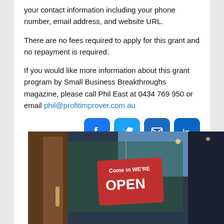your contact information including your phone number, email address, and website URL.
There are no fees required to apply for this grant and no repayment is required.
If you would like more information about this grant program by Small Business Breakthroughs magazine, please call Phil East at 0434 769 950 or email phil@profitimprover.com.au
[Figure (infographic): Social media share icons: Facebook (blue), Twitter (blue), Email (blue), LinkedIn (blue)]
[Figure (photo): Photo of a shop door with a red 'Come in We're OPEN' hanging sign, street scene visible through glass]